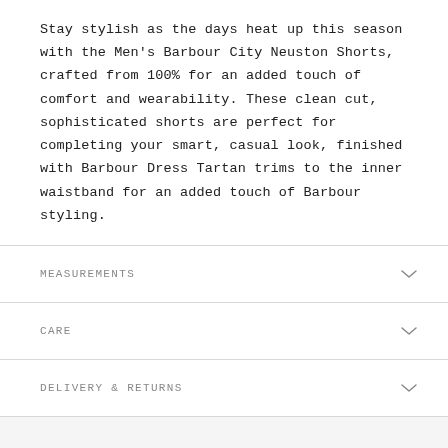Stay stylish as the days heat up this season with the Men's Barbour City Neuston Shorts, crafted from 100% for an added touch of comfort and wearability. These clean cut, sophisticated shorts are perfect for completing your smart, casual look, finished with Barbour Dress Tartan trims to the inner waistband for an added touch of Barbour styling.
MEASUREMENTS
CARE
DELIVERY & RETURNS
REVIEWS